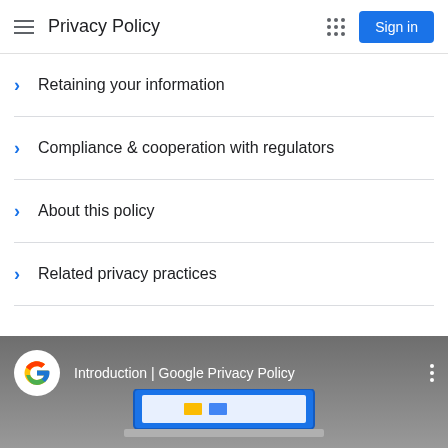Privacy Policy
Retaining your information
Compliance & cooperation with regulators
About this policy
Related privacy practices
[Figure (screenshot): Video thumbnail showing Google logo and title 'Introduction | Google Privacy Policy' on a grey background with a device stub at the bottom.]